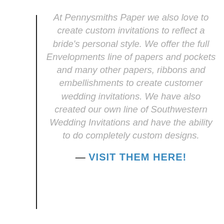At Pennysmiths Paper we also love to create custom invitations to reflect a bride's personal style. We offer the full Envelopments line of papers and pockets and many other papers, ribbons and embellishments to create customer wedding invitations. We have also created our own line of Southwestern Wedding Invitations and have the ability to do completely custom designs.
— VISIT THEM HERE!